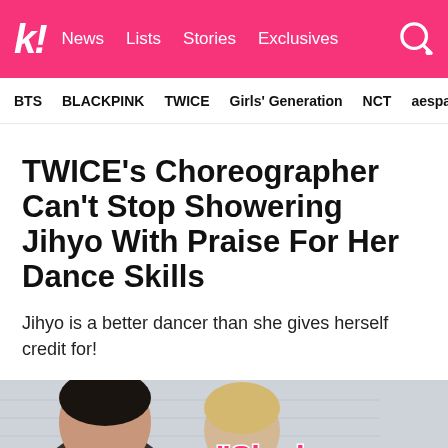k! News Lists Stories Exclusives
BTS BLACKPINK TWICE Girls' Generation NCT aespa
TWICE's Choreographer Can't Stop Showering Jihyo With Praise For Her Dance Skills
Jihyo is a better dancer than she gives herself credit for!
[Figure (photo): Two people (likely TWICE members) photographed together, with a text overlay reading 'She keeps saying']